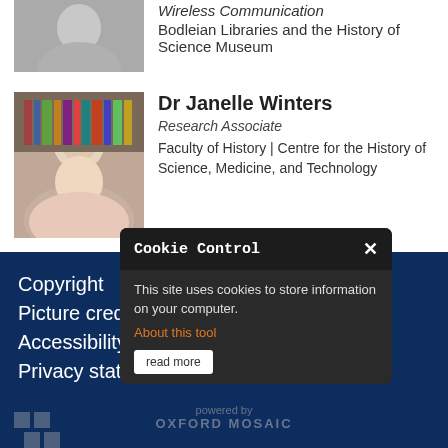[Figure (photo): Grayscale photo of a person, cropped at top]
Wireless Communication
Bodleian Libraries and the History of Science Museum
[Figure (photo): Color photo of Dr Janelle Winters, a woman with blonde hair in front of bookshelves]
Dr Janelle Winters
Research Associate
Faculty of History | Centre for the History of Science, Medicine, and Technology
Copyright
Picture credits
Accessibility statement
Privacy statement
[Figure (screenshot): Cookie Control modal dialog with text: This site uses cookies to store information on your computer. About this tool. read more button.]
[Figure (logo): Oxford Mosaic powered by logo and IT services logo in footer]